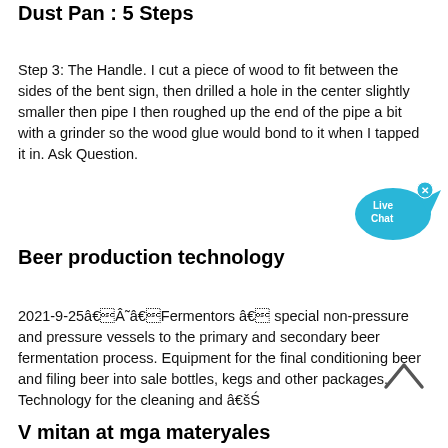Dust Pan : 5 Steps
Step 3: The Handle. I cut a piece of wood to fit between the sides of the bent sign, then drilled a hole in the center slightly smaller then pipe I then roughed up the end of the pipe a bit with a grinder so the wood glue would bond to it when I tapped it in. Ask Question.
[Figure (illustration): Live Chat bubble icon in cyan/blue color with 'Live Chat' text and an X close button]
Beer production technology
2021-9-25âÂ˜âFermentors â special non-pressure and pressure vessels to the primary and secondary beer fermentation process. Equipment for the final conditioning beer and filing beer into sale bottles, kegs and other packages. Technology for the cleaning and âŚ
[Figure (illustration): Back to top chevron arrow icon]
V mitan at mga materyales